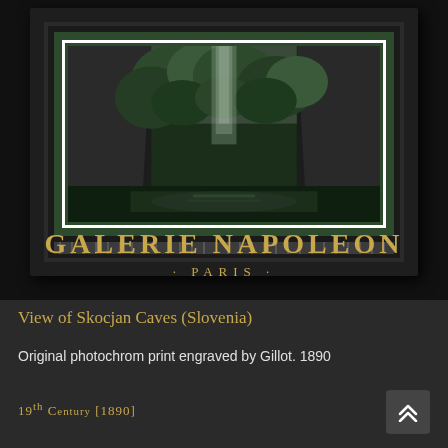[Figure (photo): Framed photochrom print of Skocjan Caves, Slovenia, showing a dramatic gorge with trees and a waterfall, displayed in a dark decorative frame with green mat and beaded border. Gallery name 'GALERIE NAPOLEON - PARIS -' appears below the framed image on a black background.]
View of Skocjan Caves (Slovenia)
Original photochrom print engraved by Gillot. 1890
19th Century [1890]